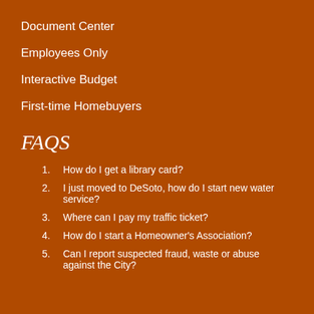Document Center
Employees Only
Interactive Budget
First-time Homebuyers
FAQS
1. How do I get a library card?
2. I just moved to DeSoto, how do I start new water service?
3. Where can I pay my traffic ticket?
4. How do I start a Homeowner's Association?
5. Can I report suspected fraud, waste or abuse against the City?